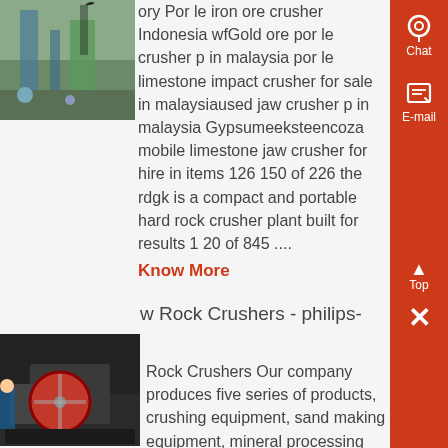[Figure (photo): Industrial site photo showing equipment and green pipes/machinery]
ory Por le iron ore crusher Indonesia wfGold ore por le crusher p in malaysia por le limestone impact crusher for sale in malaysiaused jaw crusher p in malaysia Gypsumeeksteencoza mobile limestone jaw crusher for hire in items 126 150 of 226 the rdgk is a compact and portable hard rock crusher plant built for results 1 20 of 845 ....
Know More
w Rock Crushers - philips-
[Figure (photo): Industrial jaw rock crusher machine with red circular component]
Rock Crushers Our company produces five series of products, crushing equipment, sand making equipment, mineral processing